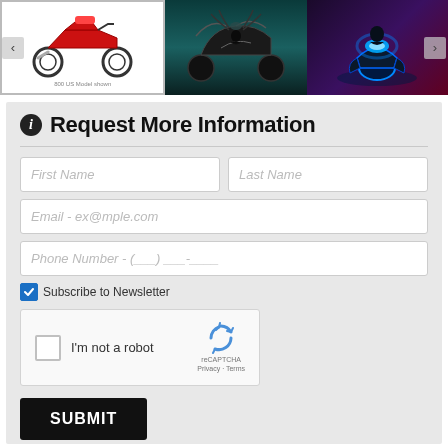[Figure (photo): Image carousel showing three motorcycle images: first shows a red sport motorcycle on white background with border, second shows a dark motorcycle silhouette on teal/dark background, third shows a blue glowing motorcycle on dark red/purple background. Left and right navigation arrows visible.]
Request More Information
[Figure (screenshot): Web form with fields: First Name, Last Name, Email - ex@mple.com, Phone Number - (__)___-____, a checked blue Subscribe to Newsletter checkbox, a reCAPTCHA widget with 'I'm not a robot' checkbox, and a black SUBMIT button.]